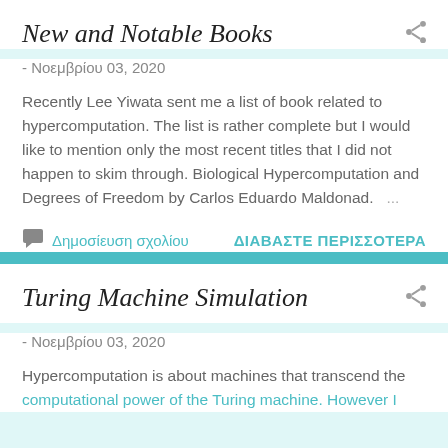New and Notable Books
- Νοεμβρίου 03, 2020
Recently Lee Yiwata sent me a list of book related to hypercomputation. The list is rather complete but I would like to mention only the most recent titles that I did not happen to skim through. Biological Hypercomputation and Degrees of Freedom by Carlos Eduardo Maldonad. ...
Δημοσίευση σχολίου  ΔΙΑΒΑΣΤΕ ΠΕΡΙΣΣΟΤΕΡΑ
Turing Machine Simulation
- Νοεμβρίου 03, 2020
Hypercomputation is about machines that transcend the computational power of the Turing machine. However I